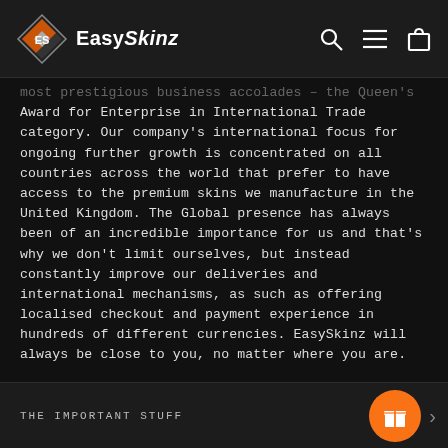EasySkinz — navigation header with logo, search, menu, and cart icons
most prestigious business accolades – the Queen's Award for Enterprise in International Trade category. Our company's international focus for ongoing further growth is concentrated on all countries across the world that prefer to have access to the premium skins we manufacture in the United Kingdom. The Global presence has always been of an incredible importance for us and that's why we don't limit ourselves, but instead constantly improve our deliveries and international mechanisms, as such as offering localised checkout and payment experience in hundreds of different currencies. EasySkinz will always be close to you, no matter where you are.
THE IMPORTANT STUFF